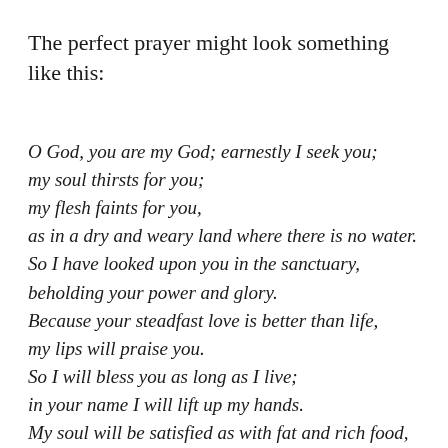The perfect prayer might look something like this:
O God, you are my God; earnestly I seek you; my soul thirsts for you; my flesh faints for you, as in a dry and weary land where there is no water. So I have looked upon you in the sanctuary, beholding your power and glory. Because your steadfast love is better than life, my lips will praise you. So I will bless you as long as I live; in your name I will lift up my hands. My soul will be satisfied as with fat and rich food, and my mouth will praise you with joyful lips, when I remember you upon my bed,